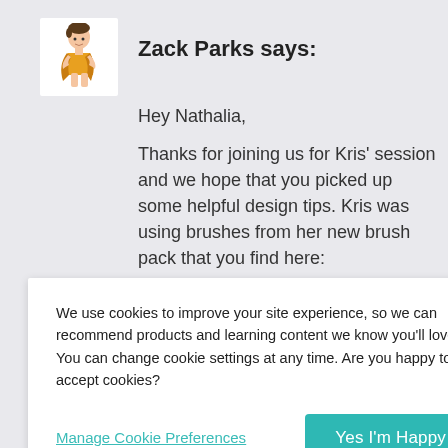Zack Parks says:
Hey Nathalia,
Thanks for joining us for Kris' session and we hope that you picked up some helpful design tips. Kris was using brushes from her new brush pack that you find here:
We use cookies to improve your site experience, so we can recommend products and learning content we know you'll love! You can change cookie settings at any time. Are you happy to accept cookies?
Manage Cookie Preferences
Yes I'm Happy
Nathalia!
TOP